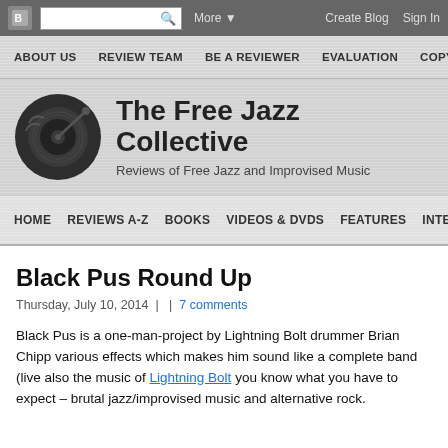Blogger navigation bar with search, More, Create Blog, Sign In
ABOUT US | REVIEW TEAM | BE A REVIEWER | EVALUATION | COPY...
The Free Jazz Collective
Reviews of Free Jazz and Improvised Music
HOME | REVIEWS A-Z | BOOKS | VIDEOS & DVDS | FEATURES | INTER...
Black Pus Round Up
Thursday, July 10, 2014  |  |  7 comments
Black Pus is a one-man-project by Lightning Bolt drummer Brian Chipp various effects which makes him sound like a complete band (live also the music of Lightning Bolt you know what you have to expect – brutal jazz/improvised music and alternative rock.